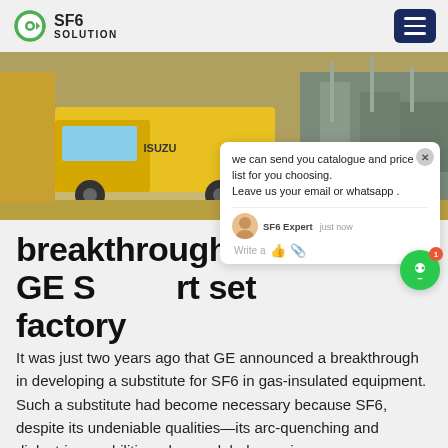SF6 SOLUTION
[Figure (photo): Yellow ISUZU truck parked at an industrial site with gas-insulated equipment and infrastructure in the background.]
breakthrough GE SF6 smart set factory
It was just two years ago that GE announced a breakthrough in developing a substitute for SF6 in gas-insulated equipment. Such a substitute had become necessary because SF6, despite its undeniable qualities—its arc-quenching and dielectric capabilities—has a global warming